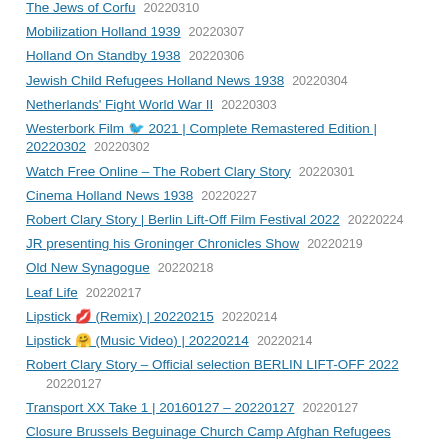The Jews of Corfu  20220310
Mobilization Holland 1939  20220307
Holland On Standby 1938  20220306
Jewish Child Refugees Holland News 1938  20220304
Netherlands' Fight World War II  20220303
Westerbork Film 🐦 2021 | Complete Remastered Edition | 20220302  20220302
Watch Free Online – The Robert Clary Story  20220301
Cinema Holland News 1938  20220227
Robert Clary Story | Berlin Lift-Off Film Festival 2022  20220224
JR presenting his Groninger Chronicles Show  20220219
Old New Synagogue  20220218
Leaf Life  20220217
Lipstick 💋 (Remix) | 20220215  20220214
Lipstick 🤗 (Music Video) | 20220214  20220214
Robert Clary Story – Official selection BERLIN LIFT-OFF 2022  20220127
Transport XX Take 1 | 20160127 – 20220127  20220127
Closure Brussels Beguinage Church Camp Afghan Refugees